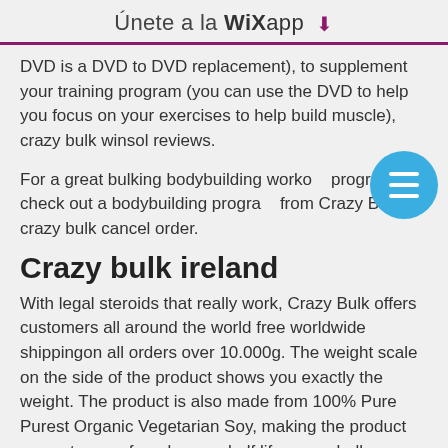Únete a la WiXapp ⬇
DVD is a DVD to DVD replacement), to supplement your training program (you can use the DVD to help you focus on your exercises to help build muscle), crazy bulk winsol reviews.
For a great bulking bodybuilding workout program check out a bodybuilding program from Crazy Bulk, crazy bulk cancel order.
Crazy bulk ireland
With legal steroids that really work, Crazy Bulk offers customers all around the world free worldwide shippingon all orders over 10.000g. The weight scale on the side of the product shows you exactly the weight. The product is also made from 100% Pure Purest Organic Vegetarian Soy, making the product even stronger for a longer shelf life, crazy bulk reviews.